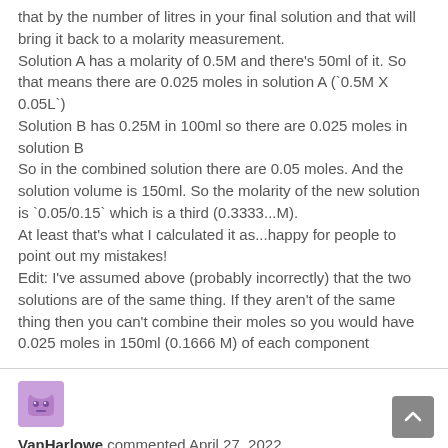that by the number of litres in your final solution and that will bring it back to a molarity measurement.
Solution A has a molarity of 0.5M and there's 50ml of it. So that means there are 0.025 moles in solution A (`0.5M X 0.05L`)
Solution B has 0.25M in 100ml so there are 0.025 moles in solution B
So in the combined solution there are 0.05 moles. And the solution volume is 150ml. So the molarity of the new solution is `0.05/0.15` which is a third (0.3333...M).
At least that's what I calculated it as...happy for people to point out my mistakes!
Edit: I've assumed above (probably incorrectly) that the two solutions are of the same thing. If they aren't of the same thing then you can't combine their moles so you would have 0.025 moles in 150ml (0.1666 M) of each component
[Figure (illustration): Avatar image of VanHarlowe - purple/pink cartoon character icon]
VanHarlowe commented April 27, 2022
I just wanna say that those of you who understand this are amazing. I'm a pretty educated person but this is like a foreign language to me. You